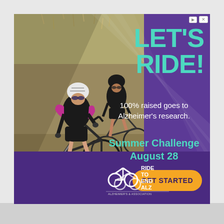[Figure (photo): Two mountain bikers riding on a dirt trail through dry scrubland. The front rider wears a white helmet and black/pink cycling jersey. The rear rider wears a black helmet. Both ride full-suspension mountain bikes.]
LET'S RIDE!
100% raised goes to Alzheimer's research.
Summer Challenge August 28
[Figure (logo): Ride to End ALZ logo with cyclists icon and Alzheimer's Association branding]
GET STARTED